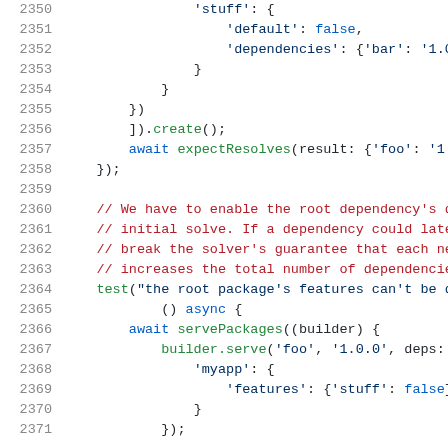Code listing lines 2350-2371, JavaScript/TypeScript source code showing dependency resolver test cases